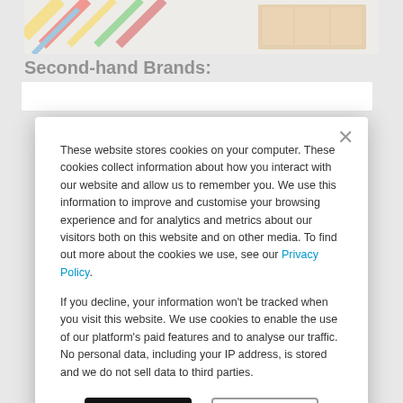[Figure (photo): Partial view of a webpage with colorful diagonal graphic elements and wooden box image]
Second-hand Brands:
These website stores cookies on your computer. These cookies collect information about how you interact with our website and allow us to remember you. We use this information to improve and customise your browsing experience and for analytics and metrics about our visitors both on this website and on other media. To find out more about the cookies we use, see our Privacy Policy.
If you decline, your information won't be tracked when you visit this website. We use cookies to enable the use of our platform's paid features and to analyse our traffic. No personal data, including your IP address, is stored and we do not sell data to third parties.